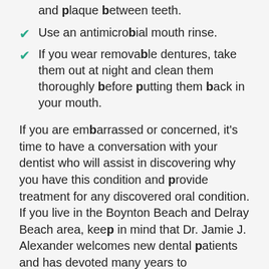and plaque between teeth.
Use an antimicrobial mouth rinse.
If you wear removable dentures, take them out at night and clean them thoroughly before putting them back in your mouth.
If you are embarrassed or concerned, it's time to have a conversation with your dentist who will assist in discovering why you have this condition and provide treatment for any discovered oral condition. If you live in the Boynton Beach and Delray Beach area, keep in mind that Dr. Jamie J. Alexander welcomes new dental patients and has devoted many years to compassionately serving his community with the highest quality of care. If you are interested in scheduling an appointment